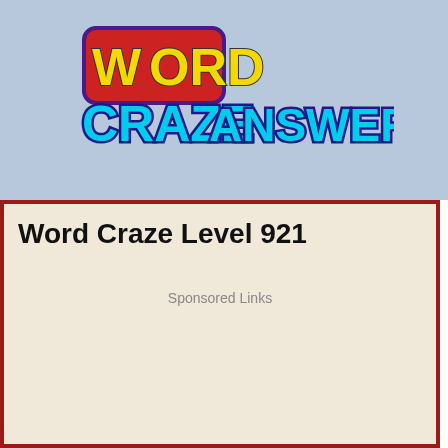[Figure (logo): Word Craze Answers logo with colorful stylized text on blue background]
Word Craze Level 921
Sponsored Links